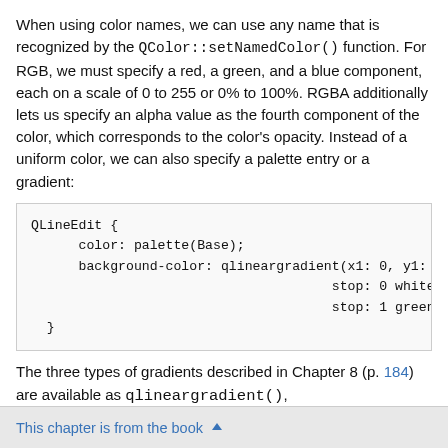When using color names, we can use any name that is recognized by the QColor::setNamedColor() function. For RGB, we must specify a red, a green, and a blue component, each on a scale of 0 to 255 or 0% to 100%. RGBA additionally lets us specify an alpha value as the fourth component of the color, which corresponds to the color's opacity. Instead of a uniform color, we can also specify a palette entry or a gradient:
The three types of gradients described in Chapter 8 (p. 184) are available as qlineargradient(), qradialgradient(), and qconicalgradient(). The syntax is explained in the style sheet reference documentation.
This chapter is from the book ▲